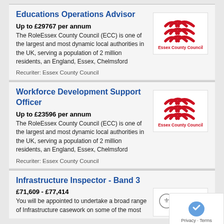Educations Operations Advisor
Up to £29767 per annum
The RoleEssex County Council (ECC) is one of the largest and most dynamic local authorities in the UK, serving a population of 2 million residents, an England, Essex, Chelmsford
Recuriter: Essex County Council
[Figure (logo): Essex County Council logo with red curved lines and text]
Workforce Development Support Officer
Up to £23596 per annum
The RoleEssex County Council (ECC) is one of the largest and most dynamic local authorities in the UK, serving a population of 2 million residents, an England, Essex, Chelmsford
Recuriter: Essex County Council
[Figure (logo): Essex County Council logo with red curved lines and text]
Infrastructure Inspector - Band 3
£71,609 - £77,414
You will be appointed to undertake a broad range of Infrastructure casework on some of the most
[Figure (logo): The Planning Inspectorate logo]